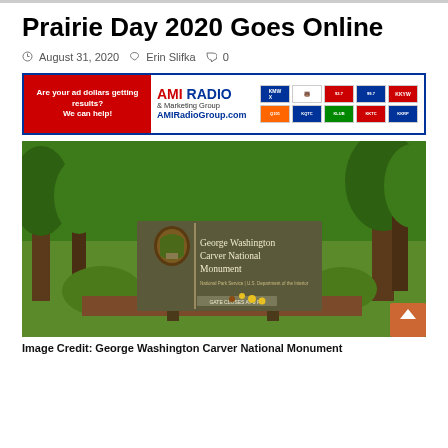Prairie Day 2020 Goes Online
August 31, 2020  Erin Slifka  0
[Figure (screenshot): AMI Radio & Marketing Group advertisement banner with red left panel and radio station logos on right]
[Figure (photo): George Washington Carver National Monument entrance sign surrounded by green trees and flower garden]
Image Credit: George Washington Carver National Monument